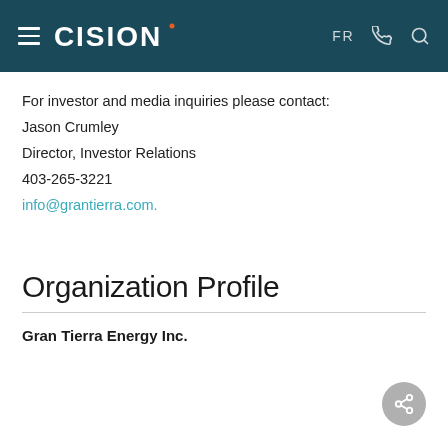CISION  FR
For investor and media inquiries please contact:
Jason Crumley
Director, Investor Relations
403-265-3221
info@grantierra.com.
Organization Profile
Gran Tierra Energy Inc.